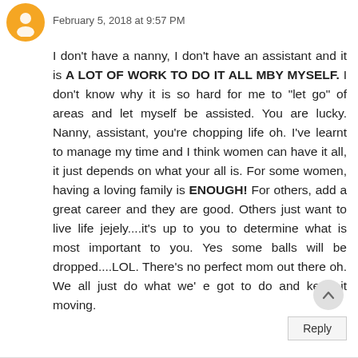[Figure (illustration): Orange circular avatar icon with a stylized person/user silhouette]
February 5, 2018 at 9:57 PM
I don't have a nanny, I don't have an assistant and it is A LOT OF WORK TO DO IT ALL MBY MYSELF. I don't know why it is so hard for me to "let go" of areas and let myself be assisted. You are lucky. Nanny, assistant, you're chopping life oh. I've learnt to manage my time and I think women can have it all, it just depends on what your all is. For some women, having a loving family is ENOUGH! For others, add a great career and they are good. Others just want to live life jejely....it's up to you to determine what is most important to you. Yes some balls will be dropped....LOL. There's no perfect mom out there oh. We all just do what we' e got to do and keep it moving.